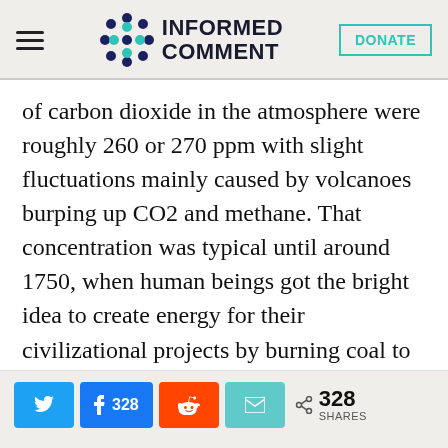INFORMED COMMENT | DONATE
of carbon dioxide in the atmosphere were roughly 260 or 270 ppm with slight fluctuations mainly caused by volcanoes burping up CO2 and methane. That concentration was typical until around 1750, when human beings got the bright idea to create energy for their civilizational projects by burning coal to drive steam turbines. They did create a lot of transformative new energy that way, giving us modern cities, factories, automobiles,
328 SHARES (Twitter, Facebook 328, Reddit, Email)